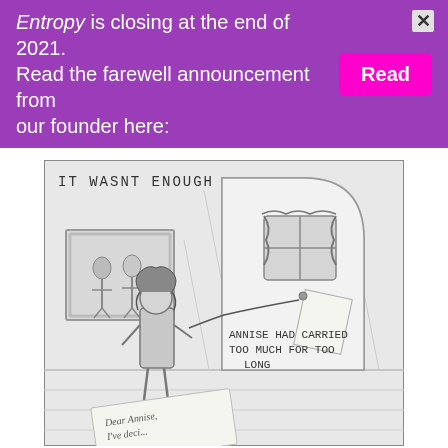Entropy is closing at the end of 2021. Read the farewell announcement from our founder here:
[Figure (illustration): A black-and-white comic panel titled 'IT WASNT ENOUGH' showing a woman with curly hair standing in a room, looking at a large tombstone-like shape. On the wall is a framed wedding photo. The tombstone has a window drawn on it. A string connects the woman to a note on the tombstone. Text reads 'ANNISE HAD CARRIED TOO MUCH FOR TOO LONG'. At the bottom is a partial letter beginning 'Dear Annise, I've deci...']